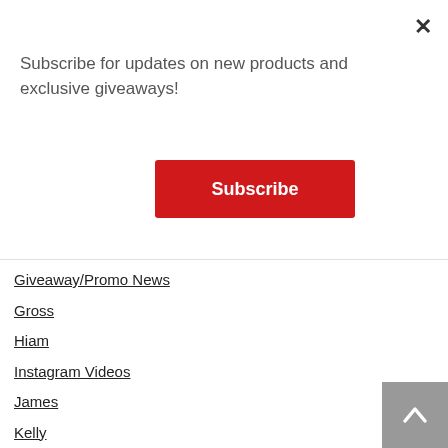Subscribe for updates on new products and exclusive giveaways!
Subscribe
Giveaway/Promo News
Gross
Hiam
Instagram Videos
James
Kelly
Listening Pleasures
Millar
Mitchell
Napolitan
O'Brien
Online Store
Patericof
Podcasts
Polly
Product News
Random News